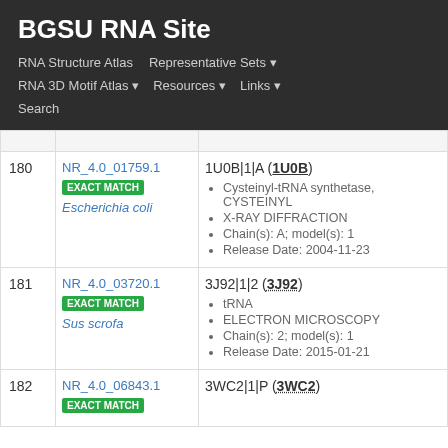BGSU RNA Site
RNA Structure Atlas | Representative Sets ▾ | RNA 3D Motif Atlas ▾ | Resources ▾ | Links ▾ | Search
| # | ID / Match / Species | PDB Entry Details |
| --- | --- | --- |
| 180 | NR_4.0_01759.1
EXACT MATCH
Escherichia coli | 1U0B|1|A (1U0B)
• Cysteinyl-tRNA synthetase, CYSTEINYL
• X-RAY DIFFRACTION
• Chain(s): A; model(s): 1
• Release Date: 2004-11-23 |
| 181 | NR_4.0_03720.1
EXACT MATCH
Sus scrofa | 3J92|1|2 (3J92)
• tRNA
• ELECTRON MICROSCOPY
• Chain(s): 2; model(s): 1
• Release Date: 2015-01-21 |
| 182 | NR_4.0_06843.1
EXACT MATCH | 3WC2|1|P (3WC2) |